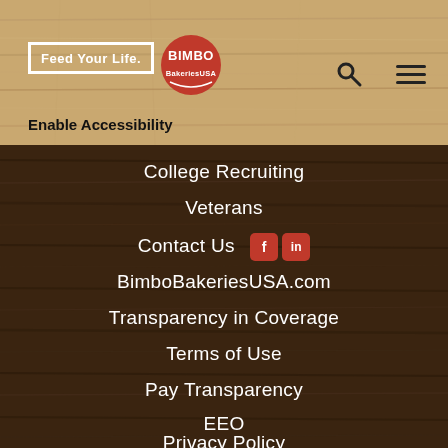Feed Your Life. | BIMBO Bakeries USA — Enable Accessibility
College Recruiting
Veterans
Contact Us
BimboBakeriesUSA.com
Transparency in Coverage
Terms of Use
Pay Transparency
EEO
Privacy Policy